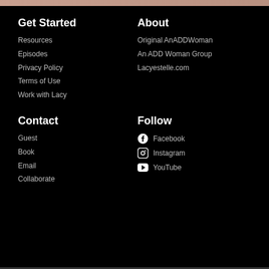Get Started
Resources
Episodes
Privacy Policy
Terms of Use
Work with Lacy
About
Original AnADDWoman
An ADD Woman Group
Lacyestelle.com
Contact
Guest
Book
Email
Collaborate
Follow
Facebook
Instagram
YouTube